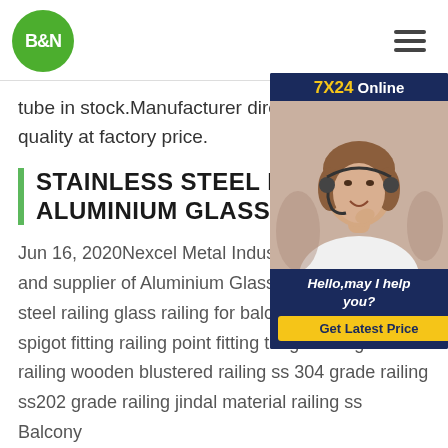[Figure (logo): B&N green circular logo with white text]
[Figure (infographic): Hamburger menu icon (three horizontal lines)]
tube in stock.Manufacturer directly sup quality at factory price.
STAINLESS STEEL RAILING ALUMINIUM GLASS RAILING
Jun 16, 2020Nexcel Metal Industries M and supplier of Aluminium Glass Railing steel railing glass railing for balcony and staircase spigot fitting railing point fitting toughened glass railing wooden blustered railing ss 304 grade railing ss202 grade railing jindal material railing ss Balcony Railing 304l 201 grade stainless steel pipe Price Per
[Figure (infographic): 7X24 Online chat widget with customer service representative photo, Hello may I help you text, and Get Latest Price button]